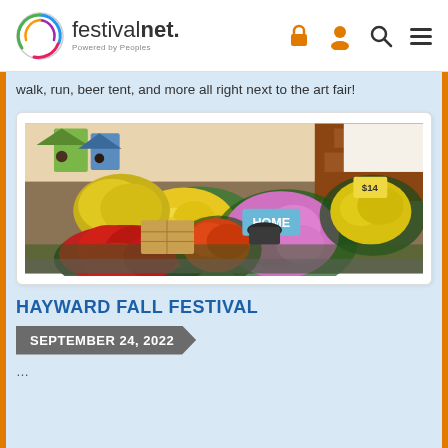festivalnet. Powered by Peoples
walk, run, beer tent, and more all right next to the art fair!
[Figure (photo): Colorful fall festival flower market display with chrysanthemums in red, yellow, pink, and orange colors, along with birdhouses and other garden items on wooden crates.]
HAYWARD FALL FESTIVAL
SEPTEMBER 24, 2022
...